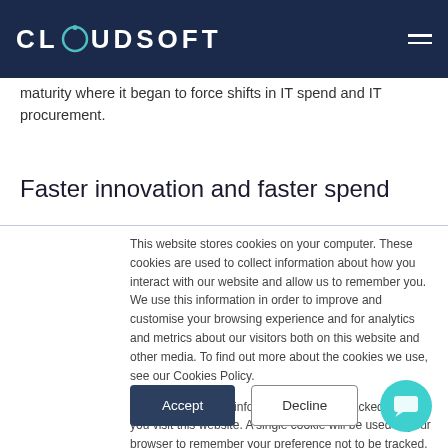CLOUDSOFT
maturity where it began to force shifts in IT spend and IT procurement.
Faster innovation and faster spend
This website stores cookies on your computer. These cookies are used to collect information about how you interact with our website and allow us to remember you. We use this information in order to improve and customise your browsing experience and for analytics and metrics about our visitors both on this website and other media. To find out more about the cookies we use, see our Cookies Policy.

If you decline, your information won't be tracked when you visit this website. A single cookie will be used in your browser to remember your preference not to be tracked.